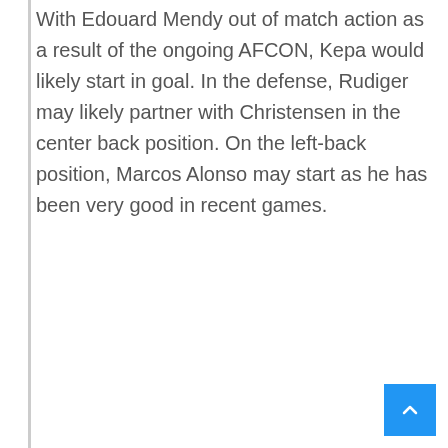With Edouard Mendy out of match action as a result of the ongoing AFCON, Kepa would likely start in goal. In the defense, Rudiger may likely partner with Christensen in the center back position. On the left-back position, Marcos Alonso may start as he has been very good in recent games.